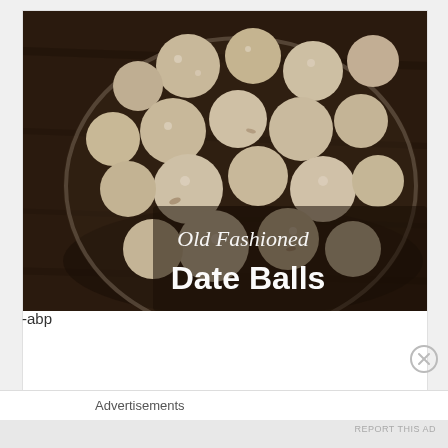[Figure (photo): Overhead photo of powdered sugar-coated date balls in a glass bowl on a dark wooden surface. Text overlay reads 'Old Fashioned Date Balls' in white script and bold fonts.]
-abp
Advertisements
REPORT THIS AD